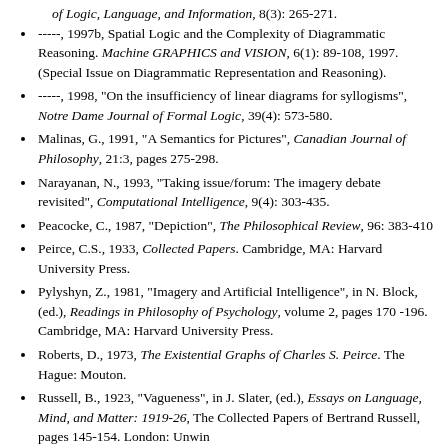of Logic, Language, and Information, 8(3): 265-271.
-----, 1997b, Spatial Logic and the Complexity of Diagrammatic Reasoning. Machine GRAPHICS and VISION, 6(1): 89-108, 1997. (Special Issue on Diagrammatic Representation and Reasoning).
-----, 1998, "On the insufficiency of linear diagrams for syllogisms", Notre Dame Journal of Formal Logic, 39(4): 573-580.
Malinas, G., 1991, "A Semantics for Pictures", Canadian Journal of Philosophy, 21:3, pages 275-298.
Narayanan, N., 1993, "Taking issue/forum: The imagery debate revisited", Computational Intelligence, 9(4): 303-435.
Peacocke, C., 1987, "Depiction", The Philosophical Review, 96: 383-410
Peirce, C.S., 1933, Collected Papers. Cambridge, MA: Harvard University Press.
Pylyshyn, Z., 1981, "Imagery and Artificial Intelligence", in N. Block, (ed.), Readings in Philosophy of Psychology, volume 2, pages 170 -196. Cambridge, MA: Harvard University Press.
Roberts, D., 1973, The Existential Graphs of Charles S. Peirce. The Hague: Mouton.
Russell, B., 1923, "Vagueness", in J. Slater, (ed.), Essays on Language, Mind, and Matter: 1919-26, The Collected Papers of Bertrand Russell, pages 145-154. London: Unwin